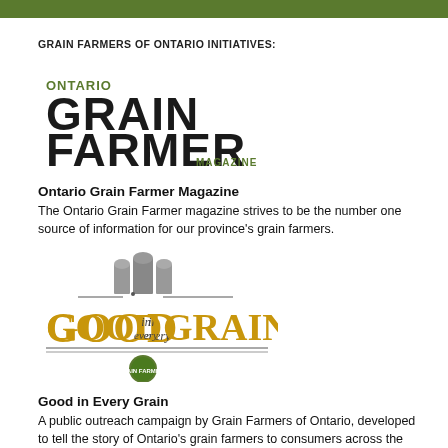GRAIN FARMERS OF ONTARIO INITIATIVES:
[Figure (logo): Ontario Grain Farmer Magazine logo — text 'ONTARIO' in small green letters above large bold black text 'GRAIN FARMER' with 'MAGAZINE' in small green text below]
Ontario Grain Farmer Magazine
The Ontario Grain Farmer magazine strives to be the number one source of information for our province's grain farmers.
[Figure (logo): Good in Every Grain logo — grain silos illustration above stylized golden/brown text 'GOOD in every GRAIN' with a circular Grain Farmers of Ontario badge below]
Good in Every Grain
A public outreach campaign by Grain Farmers of Ontario, developed to tell the story of Ontario's grain farmers to consumers across the